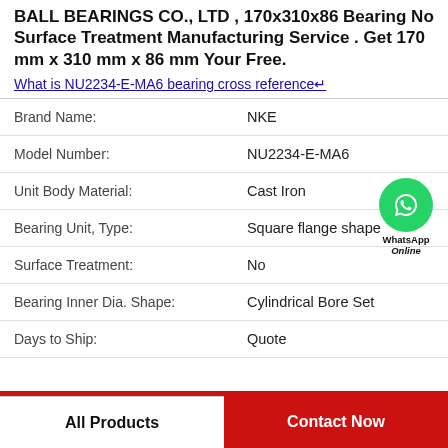BALL BEARINGS CO., LTD , 170x310x86 Bearing No Surface Treatment Manufacturing Service . Get 170 mm x 310 mm x 86 mm Your Free.
What is NU2234-E-MA6 bearing cross reference↵
| Field | Value |
| --- | --- |
| Brand Name: | NKE |
| Model Number: | NU2234-E-MA6 |
| Unit Body Material: | Cast Iron |
| Bearing Unit, Type: | Square flange shape |
| Surface Treatment: | No |
| Bearing Inner Dia. Shape: | Cylindrical Bore Set |
| Days to Ship: | Quote |
WhatsApp Online
All Products | Contact Now